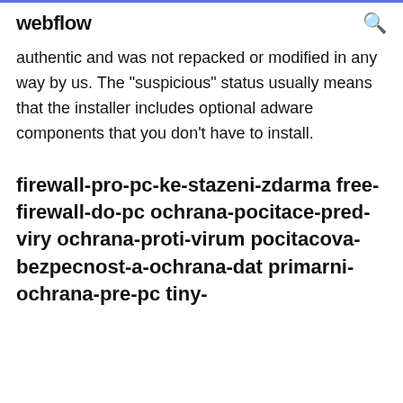webflow
authentic and was not repacked or modified in any way by us. The "suspicious" status usually means that the installer includes optional adware components that you don't have to install.
firewall-pro-pc-ke-stazeni-zdarma free-firewall-do-pc ochrana-pocitace-pred-viry ochrana-proti-virum pocitacova-bezpecnost-a-ochrana-dat primarni-ochrana-pre-pc tiny-